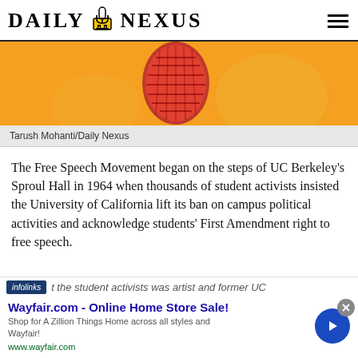DAILY NEXUS
[Figure (illustration): Orange background illustration with a red microphone graphic — Tarush Mohanti/Daily Nexus]
Tarush Mohanti/Daily Nexus
The Free Speech Movement began on the steps of UC Berkeley's Sproul Hall in 1964 when thousands of student activists insisted the University of California lift its ban on campus political activities and acknowledge students' First Amendment right to free speech.
the student activists was artist and former UC
[Figure (screenshot): Infolinks advertisement overlay: Wayfair.com - Online Home Store Sale! Shop for A Zillion Things Home across all styles at Wayfair! www.wayfair.com]